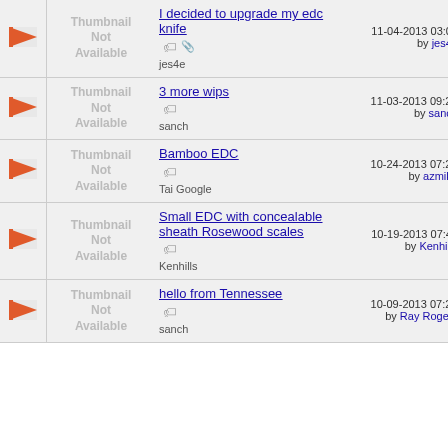|  | Thumbnail | Title/Author | Date/By |
| --- | --- | --- | --- |
| [flag] | Thumbnail Not Available | I decided to upgrade my edc knife
jes4e | 11-04-2013 03:01 AM by jes4e |
| [flag] | Thumbnail Not Available | 3 more wips
sanch | 11-03-2013 09:20 PM by sanch |
| [flag] | Thumbnail Not Available | Bamboo EDC
Tai Google | 10-24-2013 07:27 PM by azmike |
| [flag] | Thumbnail Not Available | Small EDC with concealable sheath Rosewood scales
Kenhills | 10-19-2013 07:45 AM by Kenhills |
| [flag] | Thumbnail Not Available | hello from Tennessee
sanch | 10-09-2013 07:21 PM by Ray Rogers |